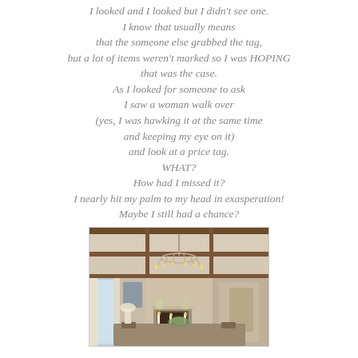I looked and I looked but I didn't see one. I know that usually means that the someone else grabbed the tag, but a lot of items weren't marked so I was HOPING that was the case. As I looked for someone to ask I saw a woman walk over (yes, I was hawking it at the same time and keeping my eye on it) and look at a price tag. WHAT? How had I missed it? I nearly hit my palm to my head in exasperation! Maybe I still had a chance?
[Figure (photo): Interior room photo showing an elegant dining room with a chandelier, coffered ceiling with dark wood beams, draped windows, dining table with candles, and a fireplace in the background.]